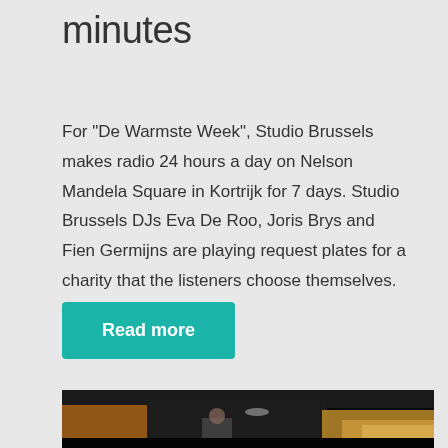minutes
For "De Warmste Week", Studio Brussels makes radio 24 hours a day on Nelson Mandela Square in Kortrijk for 7 days. Studio Brussels DJs Eva De Roo, Joris Brys and Fien Germijns are playing request plates for a charity that the listeners choose themselves.
Read more
[Figure (photo): Dark photo showing an interior scene, possibly a bar or venue, with a person visible in the background and what appears to be an animal (horse or dog) in the foreground right.]